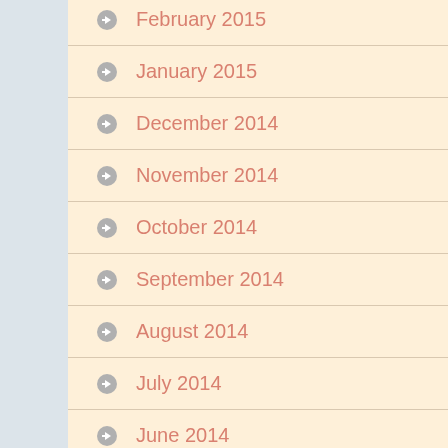February 2015
January 2015
December 2014
November 2014
October 2014
September 2014
August 2014
July 2014
June 2014
May 2014